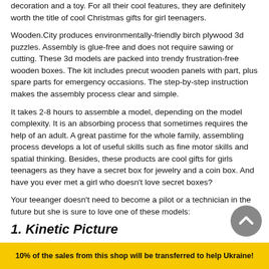decoration and a toy. For all their cool features, they are definitely worth the title of cool Christmas gifts for girl teenagers.
Wooden.City produces environmentally-friendly birch plywood 3d puzzles. Assembly is glue-free and does not require sawing or cutting. These 3d models are packed into trendy frustration-free wooden boxes. The kit includes precut wooden panels with part, plus spare parts for emergency occasions. The step-by-step instruction makes the assembly process clear and simple.
It takes 2-8 hours to assemble a model, depending on the model complexity. It is an absorbing process that sometimes requires the help of an adult. A great pastime for the whole family, assembling process develops a lot of useful skills such as fine motor skills and spatial thinking. Besides, these products are cool gifts for girls teenagers as they have a secret box for jewelry and a coin box. And have you ever met a girl who doesn't love secret boxes?
Your teeanger doesn't need to become a pilot or a technician in the future but she is sure to love one of these models:
1.  Kinetic Picture
10% of the sales from this shop will be transferred to help Ukraine!